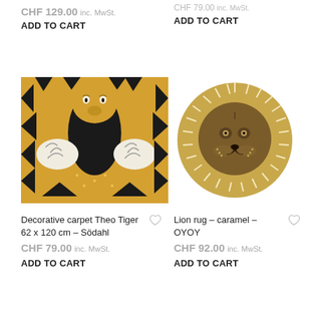CHF 129.00 inc. MwSt.
ADD TO CART
CHF 79.00 inc. MwSt.
ADD TO CART
[Figure (photo): Decorative carpet Theo Tiger 62 x 120 cm – Södahl, showing tiger face pattern in gold and black]
[Figure (photo): Lion rug – caramel – OYOY, circular rug with lion face design in caramel/brown tones]
Decorative carpet Theo Tiger 62 x 120 cm – Södahl
CHF 79.00 inc. MwSt.
ADD TO CART
Lion rug – caramel – OYOY
CHF 92.00 inc. MwSt.
ADD TO CART